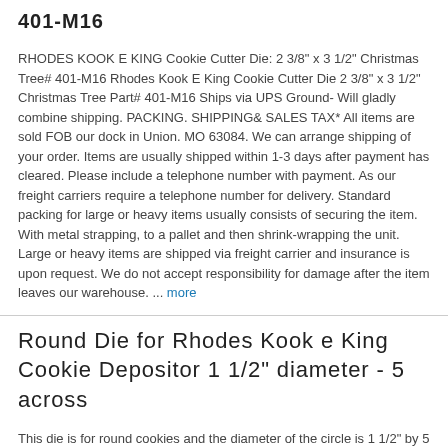401-M16
RHODES KOOK E KING Cookie Cutter Die: 2 3/8" x 3 1/2" Christmas Tree# 401-M16 Rhodes Kook E King Cookie Cutter Die 2 3/8" x 3 1/2" Christmas Tree Part# 401-M16 Ships via UPS Ground- Will gladly combine shipping. PACKING. SHIPPING& SALES TAX* All items are sold FOB our dock in Union. MO 63084. We can arrange shipping of your order. Items are usually shipped within 1-3 days after payment has cleared. Please include a telephone number with payment. As our freight carriers require a telephone number for delivery. Standard packing for large or heavy items usually consists of securing the item. With metal strapping, to a pallet and then shrink-wrapping the unit. Large or heavy items are shipped via freight carrier and insurance is upon request. We do not accept responsibility for damage after the item leaves our warehouse. ... more
Round Die for Rhodes Kook e King Cookie Depositor 1 1/2" diameter - 5 across
This die is for round cookies and the diameter of the circle is 1 1/2" by 5 cookies across. The part number embossed on the item is 205- The website's part number that matches the description of the item is 205-112. This dye is clean and in good condition- see photos. It is for the Rhodes Kook E King Cookie Depositor.
KOOK E KING RHODES AUTOMATIC COOKIE DEPOSITOR CUTTER DIUE 55